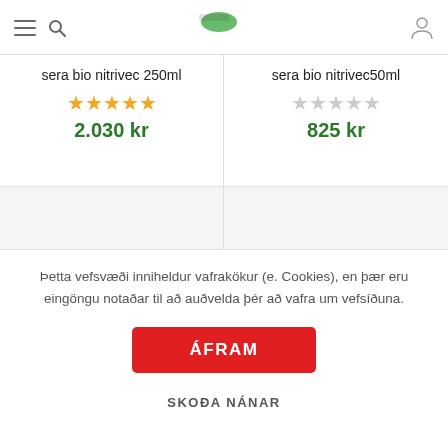Navigation bar with hamburger menu, search icon, logo, and user icon
sera bio nitrivec 250ml
★★★★★ 2.030 kr
sera bio nitrivec50ml
☆☆☆☆☆ 825 kr
Þetta vefsvæði inniheldur vafrakökur (e. Cookies), en þær eru eingöngu notaðar til að auðvelda þér að vafra um vefsíðuna.
ÁFRAM
SKOÐA NÁNAR